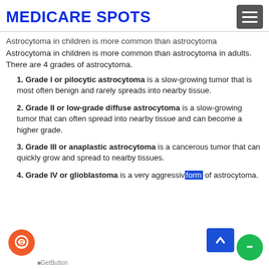MEDICARE SPOTS
Astrocytoma in children is more common than astrocytoma in adults. There are 4 grades of astrocytoma.
1. Grade I or pilocytic astrocytoma is a slow-growing tumor that is most often benign and rarely spreads into nearby tissue.
2. Grade II or low-grade diffuse astrocytoma is a slow-growing tumor that can often spread into nearby tissue and can become a higher grade.
3. Grade III or anaplastic astrocytoma is a cancerous tumor that can quickly grow and spread to nearby tissues.
4. Grade IV or glioblastoma is a very aggressive form of astrocytoma.